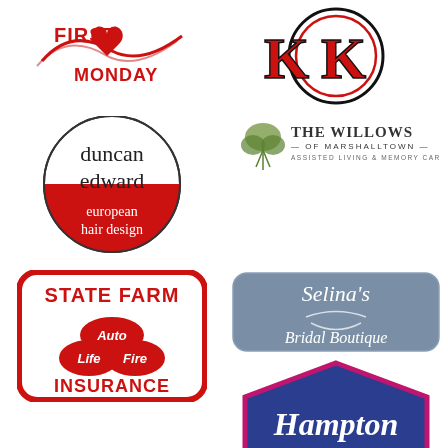[Figure (logo): First Monday logo in red cursive with a heart and ribbon design]
[Figure (logo): KK monogram logo in red block letters inside a double circle, red and black]
[Figure (logo): Duncan Edward European Hair Design - circular logo with white serif text on red background]
[Figure (logo): The Willows of Marshalltown - Assisted Living & Memory Care logo with willow tree]
[Figure (logo): Selina's Bridal Boutique logo - blue-grey rounded rectangle with cursive white text]
[Figure (logo): State Farm Insurance logo - red rounded rectangle with Auto Life Fire ovals]
[Figure (logo): Hampton by Hilton logo - blue hexagon with cursive Hampton text and pink border]